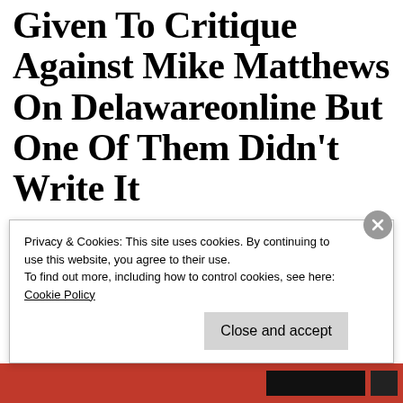Very Odd: Writing Credit Given To Critique Against Mike Matthews On Delawareonline But One Of Them Didn't Write It
That was weird.  Today, Delawareonline published an opinion piece by Salome
Privacy & Cookies: This site uses cookies. By continuing to use this website, you agree to their use.
To find out more, including how to control cookies, see here: Cookie Policy